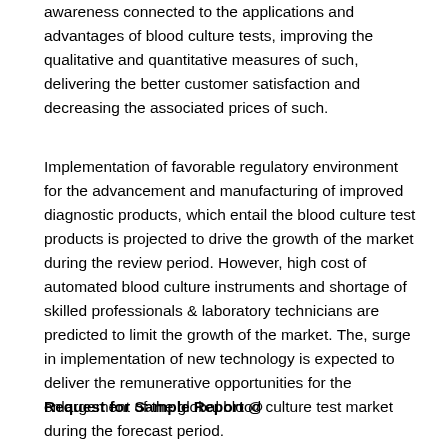awareness connected to the applications and advantages of blood culture tests, improving the qualitative and quantitative measures of such, delivering the better customer satisfaction and decreasing the associated prices of such.
Implementation of favorable regulatory environment for the advancement and manufacturing of improved diagnostic products, which entail the blood culture test products is projected to drive the growth of the market during the review period. However, high cost of automated blood culture instruments and shortage of skilled professionals & laboratory technicians are predicted to limit the growth of the market. The, surge in implementation of new technology is expected to deliver the remunerative opportunities for the enlargement of the global blood culture test market during the forecast period.
Request for Sample Report @